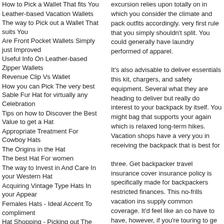How to Pick a Wallet That fits You
Leather-based Vacation Wallets
The way to Pick out a Wallet That suits You
Are Front Pocket Wallets Simply just Improved
Useful Info On Leather-based Zipper Wallets
Revenue Clip Vs Wallet
How you can Pick The very best Sable Fur Hat for virtually any Celebration
Tips on how to Discover the Best Value to get a Hat
Appropriate Treatment For Cowboy Hats
The Origins in the Hat
The best Hat For women
The way to Invest in And Care In your Western Hat
Acquiring Vintage Type Hats In your Appear
Females Hats - Ideal Accent To compliment
Hat Shopping - Picking out The ideal Hat To suit your needs
Is it Modern to Don Hats Anymore
All You should Find out about Hats
How to find the ideal Wintertime Hat
A Leather-based Backpack - A Durable Companion
Most effective Backpacking Tent
Leather Backpacks - Stylish and really Sturdy
Matters to look at When Obtaining Backpacks
Suggestion For purchasing a Notebook computer Bag Or Backpack
8 Issues It's essential to Just take For Backpacking Vacation
excursion relies upon totally on in which you consider the climate and pack outfits accordingly. very first rule that you simply shouldn't split. You could generally have laundry performed of apparel.
It's also advisable to deliver essentials this kit, chargers, and safety equipment. Several what they are heading to deliver but really do interest to your backpack by itself. You might bag that supports your again which is relaxed long-term hikes. Vacation shops have a very you in receiving the backpack that is best for
three. Get backpacker travel insurance coverage insurance policy is specifically made for backpackers restricted finances. This no-frills vacation insurance supply common coverage. It'd feel like an concern have to have, however, if you're touring to go quantity of your time, unexpected events or emergencies take place. This insurance coverage addresses expenses, lost luggage, and skipped flights.